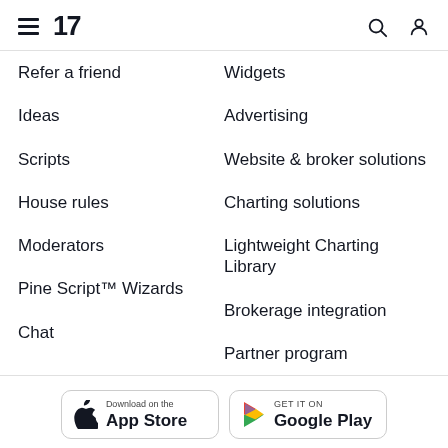TradingView navigation header with hamburger menu, logo, search, and user icons
Refer a friend
Widgets
Ideas
Advertising
Scripts
Website & broker solutions
House rules
Charting solutions
Moderators
Lightweight Charting Library
Pine Script™ Wizards
Brokerage integration
Chat
Partner program
[Figure (logo): Download on the App Store badge]
[Figure (logo): GET IT ON Google Play badge]
[Figure (logo): Download Desktop App badge]